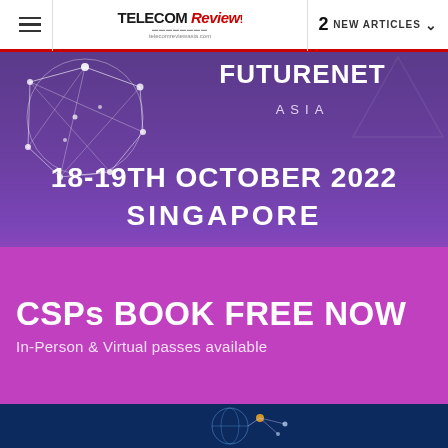≡  TELECOM Review  2 NEW ARTICLES ▾
[Figure (illustration): FutureNet Asia event banner. Purple/magenta gradient background with network globe graphic top-left. Text reads: FUTURENET ASIA / 18-19TH OCTOBER 2022 / SINGAPORE / CSPs BOOK FREE NOW / In-Person & Virtual passes available]
[Figure (illustration): Partial view of a second banner image at the bottom showing a dark blue background with a globe graphic and network lines.]